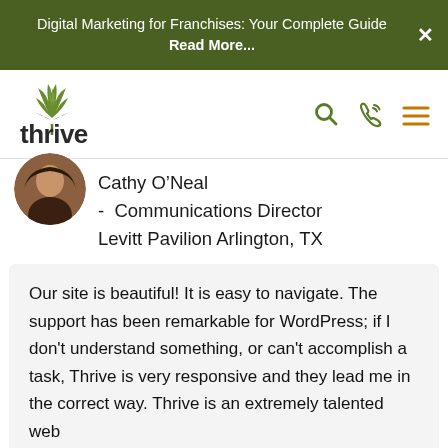Digital Marketing for Franchises: Your Complete Guide Read More...
[Figure (logo): Thrive logo with green leaf/tree icon and lowercase 'thrive' wordmark]
[Figure (photo): Circular avatar photo of Cathy O'Neal, partially cropped at top]
Cathy O’Neal
-  Communications Director
Levitt Pavilion Arlington, TX
Our site is beautiful! It is easy to navigate. The support has been remarkable for WordPress; if I don't understand something, or can't accomplish a task, Thrive is very responsive and they lead me in the correct way. Thrive is an extremely talented web